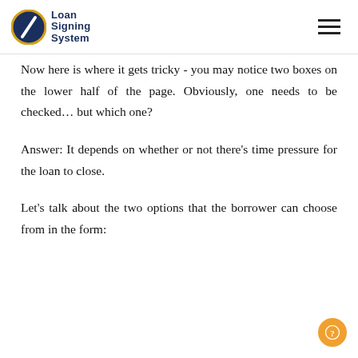Loan Signing System
Now here is where it gets tricky - you may notice two boxes on the lower half of the page. Obviously, one needs to be checked… but which one?
Answer: It depends on whether or not there's time pressure for the loan to close.
Let's talk about the two options that the borrower can choose from in the form: